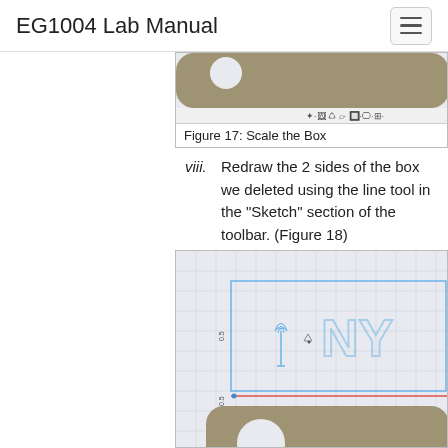EG1004 Lab Manual
[Figure (screenshot): CAD software screenshot showing a scaled box shape with rounded corners and circular hole, with toolbar icons at the bottom]
Figure 17: Scale the Box
viii. Redraw the 2 sides of the box we deleted using the line tool in the “Sketch” section of the toolbar. (Figure 18)
[Figure (screenshot): CAD software screenshot showing a box being redrawn with the line tool, including NYU logo watermark, blue outline rectangle, and rounded box shape with circular hole]